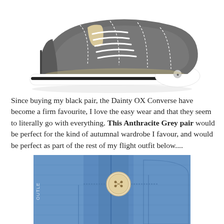[Figure (photo): Grey Converse Dainty OX low-top sneaker with white laces on a white background]
Since buying my black pair, the Dainty OX Converse have become a firm favourite, I love the easy wear and that they seem to literally go with everything. This Anthracite Grey pair would be perfect for the kind of autumnal wardrobe I favour, and would be perfect as part of the rest of my flight outfit below....
[Figure (photo): Close-up of blue denim jeans showing button and pocket detail]